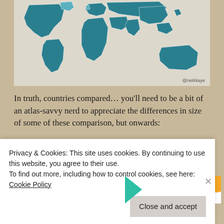[Figure (map): World map showing countries in teal/dark teal shading on a light background, attributed to @neilrkaye]
In truth, countries compared… you'll need to be a bit of an atlas-savvy nerd to appreciate the differences in size of some of these comparison, but onwards:
Advertisements
[Figure (screenshot): WooCommerce advertisement banner: 'How to start selling subscriptions online']
Privacy & Cookies: This site uses cookies. By continuing to use this website, you agree to their use.
To find out more, including how to control cookies, see here:
Cookie Policy
Close and accept